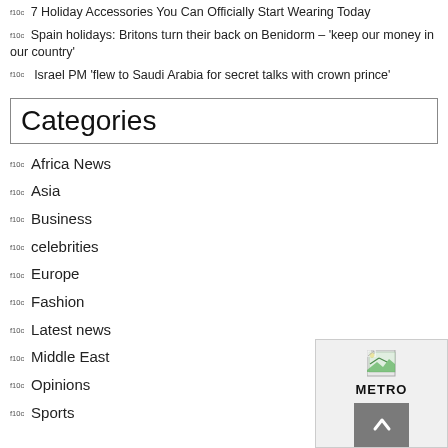f10c  7 Holiday Accessories You Can Officially Start Wearing Today
f10c  Spain holidays: Britons turn their back on Benidorm – 'keep our money in our country'
f10c  Israel PM 'flew to Saudi Arabia for secret talks with crown prince'
Categories
f10c  Africa News
f10c  Asia
f10c  Business
f10c  celebrities
f10c  Europe
f10c  Fashion
f10c  Latest news
f10c  Middle East
f10c  Opinions
f10c  Sports
[Figure (other): METRO logo with broken image icon and upward arrow button]